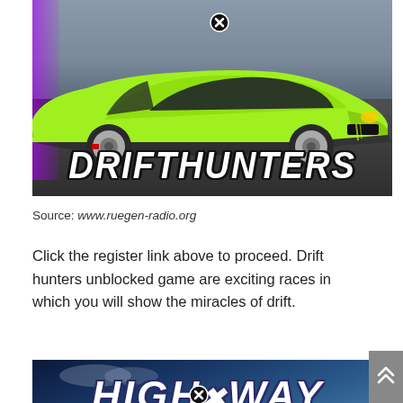[Figure (screenshot): Drift Hunters game screenshot showing a lime green sports car (Nissan Silvia style) on a road/track, with DRIFTHUNTERS text overlay in bold white italic letters and a close/X button circle at top center.]
Source: www.ruegen-radio.org
Click the register link above to proceed. Drift hunters unblocked game are exciting races in which you will show the miracles of drift.
[Figure (screenshot): Partial screenshot of a Highway game banner with bold white italic HIGHWAY text on a dark blue gradient background, with a close/X button circle visible.]